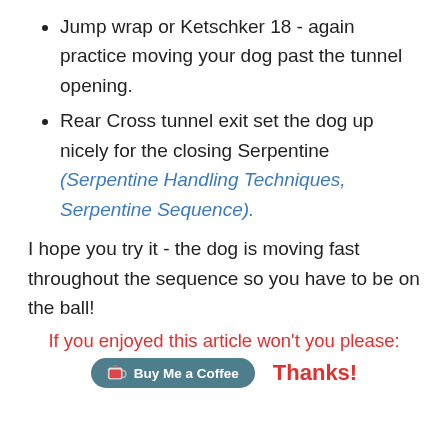Jump wrap or Ketschker 18 - again practice moving your dog past the tunnel opening.
Rear Cross tunnel exit set the dog up nicely for the closing Serpentine (Serpentine Handling Techniques, Serpentine Sequence).
I hope you try it - the dog is moving fast throughout the sequence so you have to be on the ball!
If you enjoyed this article won't you please:
[Figure (other): Buy Me a Coffee button widget followed by 'Thanks!' text in red]